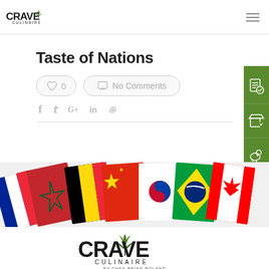Crave Culinaire
Taste of Nations
0 likes, No Comments
Social share icons: Facebook, Twitter, Google+, LinkedIn, Pinterest
[Figure (photo): Flags of multiple nations arranged in a fan: France, Morocco, Belgium, China, South Korea, Brazil, Canada]
[Figure (logo): Crave Culinaire logo with chef herb icon and text 'By Chef Brian Roland']